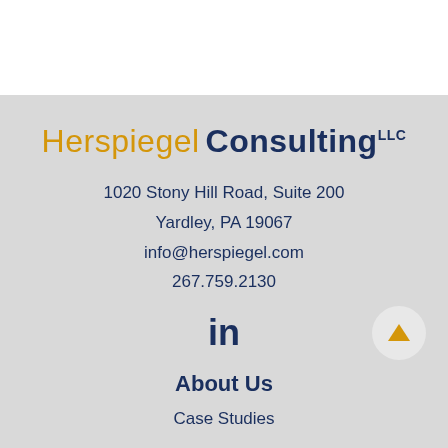[Figure (logo): Herspiegel Consulting LLC logo with 'Herspiegel' in gold and 'Consulting' in dark navy bold, with LLC superscript]
1020 Stony Hill Road, Suite 200
Yardley, PA 19067
info@herspiegel.com
267.759.2130
[Figure (logo): LinkedIn 'in' icon in dark navy]
About Us
Case Studies